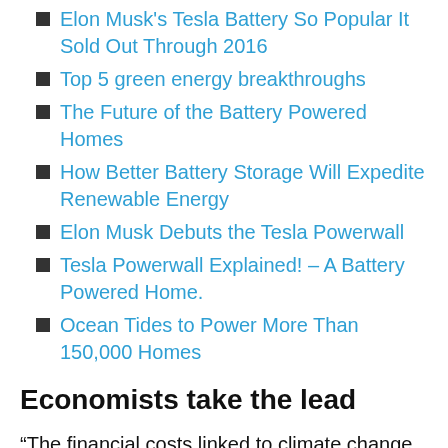Elon Musk's Tesla Battery So Popular It Sold Out Through 2016
Top 5 green energy breakthroughs
The Future of the Battery Powered Homes
How Better Battery Storage Will Expedite Renewable Energy
Elon Musk Debuts the Tesla Powerwall
Tesla Powerwall Explained! – A Battery Powered Home.
Ocean Tides to Power More Than 150,000 Homes
Economists take the lead
“The financial costs linked to climate change represent the biggest threat to the global economy, according to Nobel Prize-winning economists. Article Skilla”